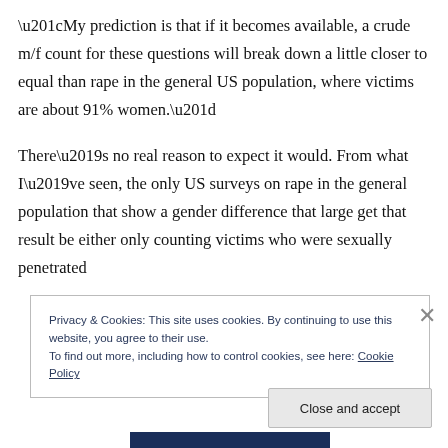“My prediction is that if it becomes available, a crude m/f count for these questions will break down a little closer to equal than rape in the general US population, where victims are about 91% women.”
There’s no real reason to expect it would. From what I’ve seen, the only US surveys on rape in the general population that show a gender difference that large get that result be either only counting victims who were sexually penetrated
Privacy & Cookies: This site uses cookies. By continuing to use this website, you agree to their use.
To find out more, including how to control cookies, see here: Cookie Policy
Close and accept